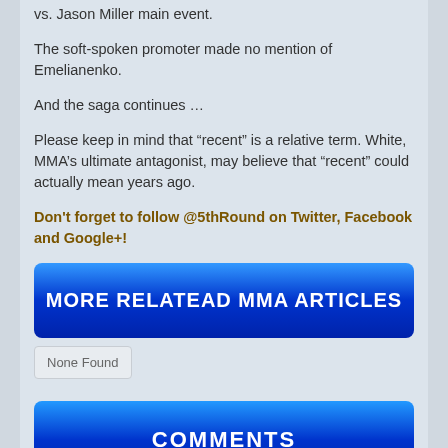vs. Jason Miller main event.
The soft-spoken promoter made no mention of Emelianenko.
And the saga continues …
Please keep in mind that “recent” is a relative term. White, MMA’s ultimate antagonist, may believe that “recent” could actually mean years ago.
Don't forget to follow @5thRound on Twitter, Facebook and Google+!
MORE RELATEAD MMA ARTICLES
None Found
COMMENTS